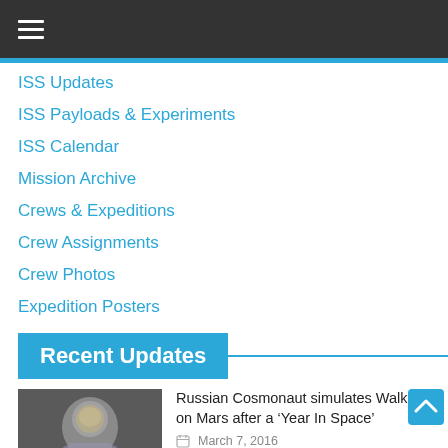Navigation menu header bar
ISS Updates
ISS Payloads & Experiments
ISS Calendar
Mission Archive
Crews & Expeditions
Crew Assignments
Crew Photos
Expedition Posters
Recent Updates
[Figure (photo): Photo of a Russian cosmonaut in a space suit]
Russian Cosmonaut simulates Walk on Mars after a ‘Year In Space’
March 7, 2016